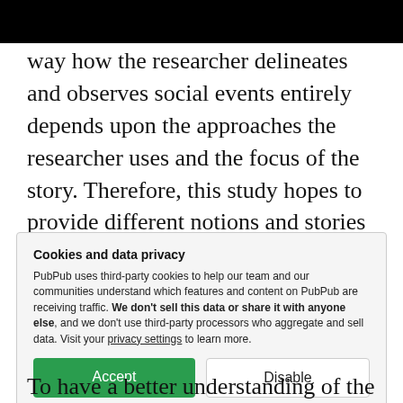way how the researcher delineates and observes social events entirely depends upon the approaches the researcher uses and the focus of the story. Therefore, this study hopes to provide different notions and stories about EFL teachers' perceptions of CALL employment and their interpretations during interaction
Cookies and data privacy
PubPub uses third-party cookies to help our team and our communities understand which features and content on PubPub are receiving traffic. We don't sell this data or share it with anyone else, and we don't use third-party processors who aggregate and sell data. Visit your privacy settings to learn more.
[Accept] [Disable]
To have a better understanding of the use